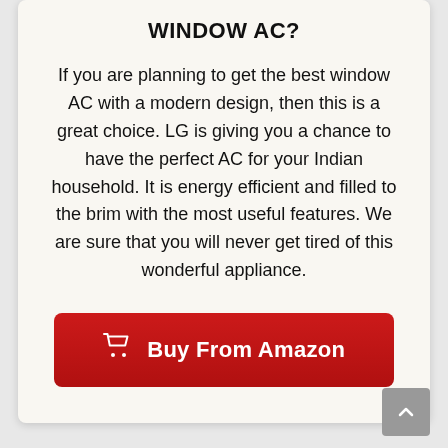WINDOW AC?
If you are planning to get the best window AC with a modern design, then this is a great choice. LG is giving you a chance to have the perfect AC for your Indian household. It is energy efficient and filled to the brim with the most useful features. We are sure that you will never get tired of this wonderful appliance.
Buy From Amazon